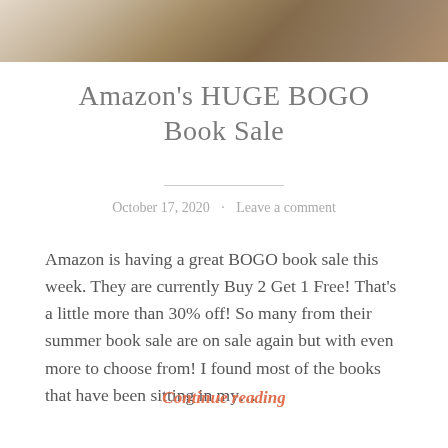[Figure (photo): Partial cropped photo of books on a wooden surface, warm brown tones]
Amazon's HUGE BOGO Book Sale
October 17, 2020  ·  Leave a comment
Amazon is having a great BOGO book sale this week. They are currently Buy 2 Get 1 Free! That's a little more than 30% off! So many from their summer book sale are on sale again but with even more to choose from! I found most of the books that have been sitting in my...
Continue reading